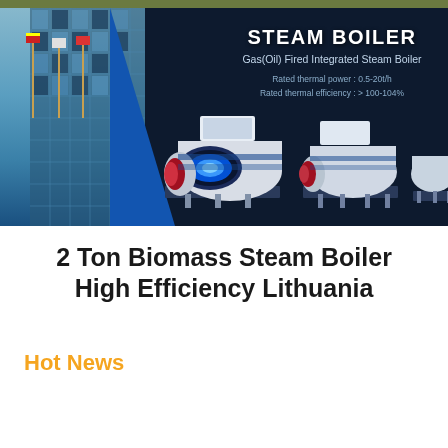[Figure (photo): Steam boiler product banner showing a dark navy background with a building facade on the left with flags, a blue diagonal stripe, and three industrial steam boiler units (gas/oil fired) displayed prominently. Text overlay reads STEAM BOILER, Gas(Oil) Fired Integrated Steam Boiler, Rated thermal power: 0.5-20t/h, Rated thermal efficiency: > 100-104%.]
2 Ton Biomass Steam Boiler High Efficiency Lithuania
Hot News